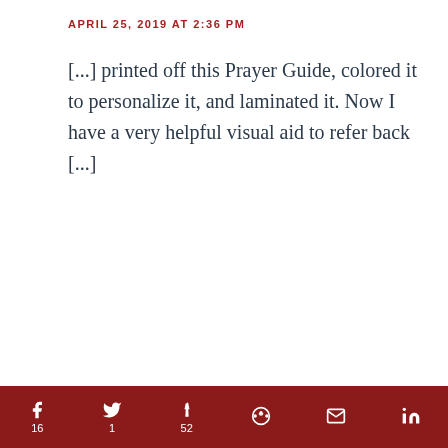APRIL 25, 2019 AT 2:36 PM
[...] printed off this Prayer Guide, colored it to personalize it, and laminated it. Now I have a very helpful visual aid to refer back [...]
Leave a Reply
Your email address will not be published. Required fields are marked *
f 16  Twitter 1  Pinterest 52  Reddit  Email  LinkedIn